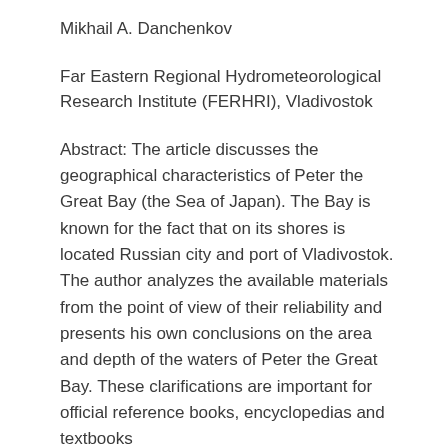Mikhail A. Danchenkov
Far Eastern Regional Hydrometeorological Research Institute (FERHRI), Vladivostok
Abstract: The article discusses the geographical characteristics of Peter the Great Bay (the Sea of Japan). The Bay is known for the fact that on its shores is located Russian city and port of Vladivostok. The author analyzes the available materials from the point of view of their reliability and presents his own conclusions on the area and depth of the waters of Peter the Great Bay. These clarifications are important for official reference books, encyclopedias and textbooks